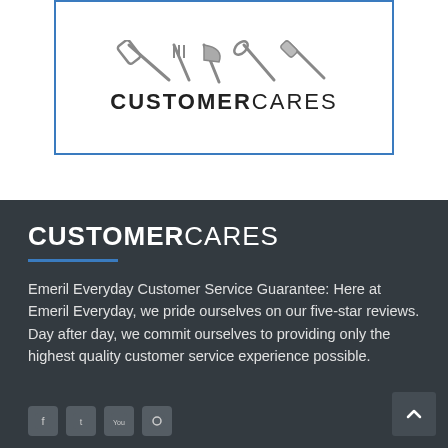[Figure (logo): CustomerCares logo inside blue-bordered box with utensil/tool graphic above text reading CUSTOMERCARES]
CUSTOMERCARES
Emeril Everyday Customer Service Guarantee: Here at Emeril Everyday, we pride ourselves on our five-star reviews. Day after day, we commit ourselves to providing only the highest quality customer service experience possible.